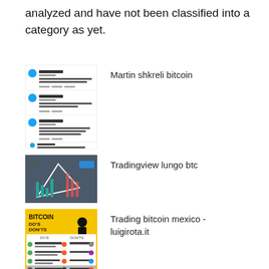analyzed and have not been classified into a category as yet.
[Figure (screenshot): Twitter/social media screenshot showing multiple tweets by Martin Shkreli about Bitcoin]
Martin shkreli bitcoin
[Figure (screenshot): TradingView chart screenshot showing BTC candlestick chart with dark background]
Tradingview lungo btc
[Figure (infographic): Bitcoin Do's and Don'ts infographic with yellow background and list of dos and don'ts icons]
Trading bitcoin mexico - luigirota.it